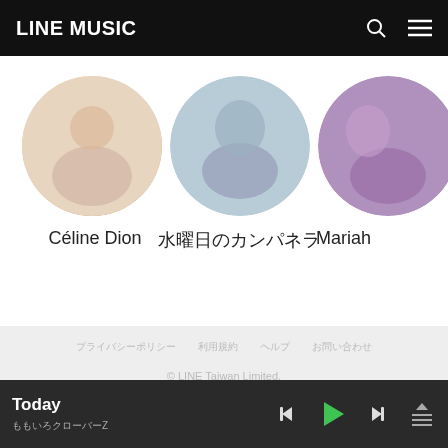LINE MUSIC
[Figure (photo): Circular artist photo of Céline Dion]
Céline Dion
[Figure (photo): Circular artist photo with Japanese name]
水曜日のカンパネラ
[Figure (photo): Circular artist photo of Mariah (partially visible)]
Mariah
プライバシーポリシー　利用規約　ヘルプ　お問い合わせ
© LINE Taiwan Limited.
[Figure (logo): LINE, Instagram, and Facebook social icons]
Today　ももいろクローバーZ
[Figure (other): Music player controls: previous, play, next, queue]